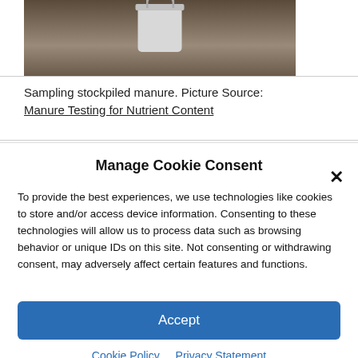[Figure (photo): Photograph of a white bucket/pail placed on stockpiled manure on the ground, partially cropped at top]
Sampling stockpiled manure. Picture Source: Manure Testing for Nutrient Content
Manage Cookie Consent
To provide the best experiences, we use technologies like cookies to store and/or access device information. Consenting to these technologies will allow us to process data such as browsing behavior or unique IDs on this site. Not consenting or withdrawing consent, may adversely affect certain features and functions.
Accept
Cookie Policy  Privacy Statement